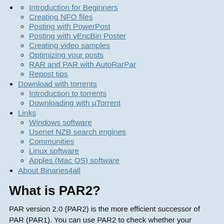Introduction for Beginners
Creating NFO files
Posting with PowerPost
Posting with yEncBin Poster
Creating video samples
Optimizing your posts
RAR and PAR with AutoRarPar
Repost tips
Download with torrents
Introduction to torrents
Downloading with µTorrent
Links
Windows software
Usenet NZB search engines
Communities
Linux software
Apples (Mac OS) software
About Binaries4all
What is PAR2?
PAR version 2.0 (PAR2) is the more efficient successor of PAR (PAR1). You can use PAR2 to check whether your downloaded files were received completely and correctly and you can repair any missing or corrupt files if necessary! PAR2 divides a RAR set into 'blocks' so that the downloader can see how many blocks are missing. After that he can download that number of PAR2 blocks for reparation.
This howto is written for QuickPar, version 0.91.
Download QuickPar